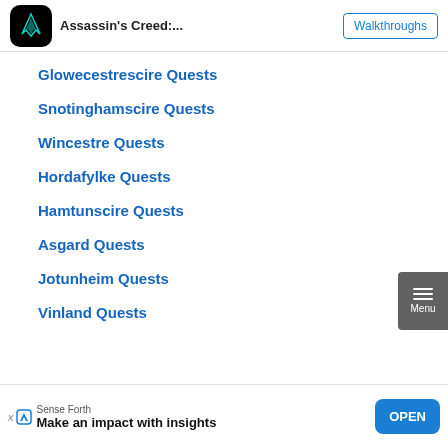Assassin's Creed:... Walkthroughs
Glowecestrescire Quests
Snotinghamscire Quests
Wincestre Quests
Hordafylke Quests
Hamtunscire Quests
Asgard Quests
Jotunheim Quests
Vinland Quests
Sense Forth Make an impact with insights OPEN